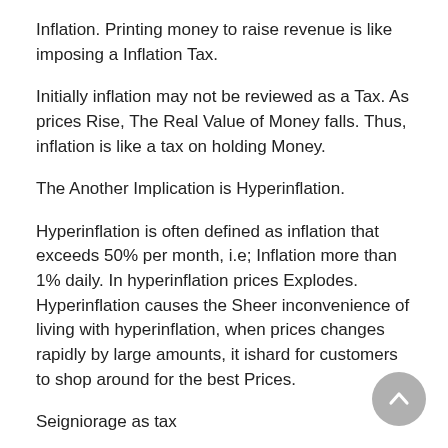Inflation. Printing money to raise revenue is like imposing a Inflation Tax.
Initially inflation may not be reviewed as a Tax. As prices Rise, The Real Value of Money falls. Thus, inflation is like a tax on holding Money.
The Another Implication is Hyperinflation.
Hyperinflation is often defined as inflation that exceeds 50% per month, i.e; Inflation more than 1% daily. In hyperinflation prices Explodes. Hyperinflation causes the Sheer inconvenience of living with hyperinflation, when prices changes rapidly by large amounts, it ishard for customers to shop around for the best Prices.
Seigniorage as tax